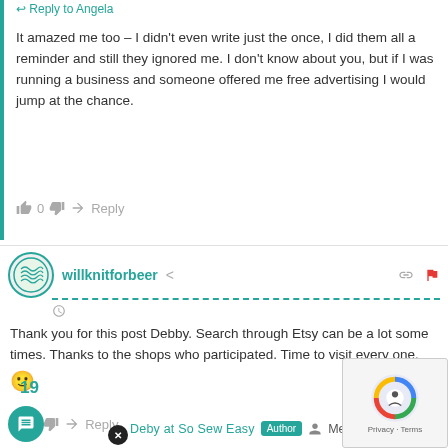Reply to Angela
It amazed me too – I didn't even write just the once, I did them all a reminder and still they ignored me. I don't know about you, but if I was running a business and someone offered me free advertising I would jump at the chance.
0
Reply
willknitforbeer
Thank you for this post Debby. Search through Etsy can be a lot some times. Thanks to the shops who participated. Time to visit every one. 🙂
0
Reply
19
Deby at So Sew Easy
Author
Mem